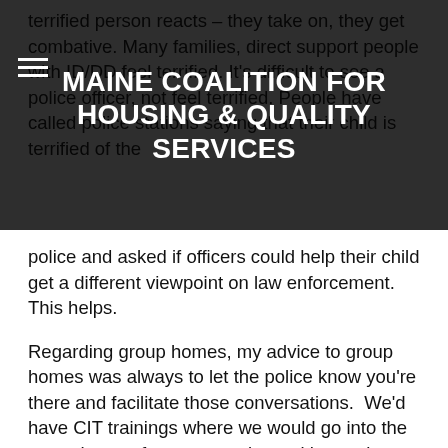MAINE COALITION FOR HOUSING & QUALITY SERVICES
terrified person reacts – they take on, they get combative. Many families, direct support people with ID/DD feel terrified. It's difficult to see a police officer, not feel terrified. People have called police stations saying that their child is terrified of the police and asked if officers could help their child get a different viewpoint on law enforcement.  This helps.
Regarding group homes, my advice to group homes was always to let the police know you're there and facilitate those conversations.  We'd have CIT trainings where we would go into the group homes for conversations with people, out of uniform, person-to-person.  Police don't have time in an emergency to contemplate someone's perspective, but when you take the time to do that relationship work ahead of time, before a crisis, it's unbelievable what happens.  This costs nothing but time, however that is a cost for departments.  Facilitating